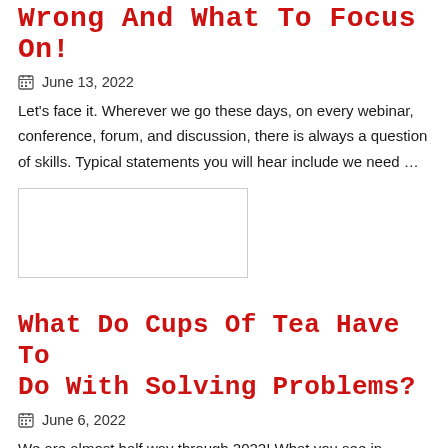Wrong And What To Focus On!
June 13, 2022
Let's face it. Wherever we go these days, on every webinar, conference, forum, and discussion, there is always a question of skills. Typical statements you will hear include we need …
[Figure (photo): Rectangular image placeholder, white background with light border]
What Do Cups Of Tea Have To Do With Solving Problems?
June 6, 2022
We are almost half way through 2022! What you see in